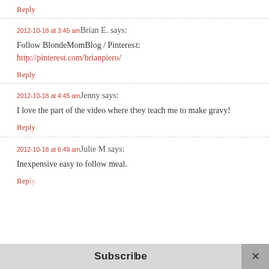Reply
2012-10-18 at 3:45 am Brian E. says:
Follow BlondeMomBlog / Pinterest:
http://pinterest.com/brianpiero/
Reply
2012-10-18 at 4:45 am Jenny says:
I love the part of the video where they teach me to make gravy!
Reply
2012-10-18 at 6:49 am Julie M says:
Inexpensive easy to follow meal.
Reply
Subscribe